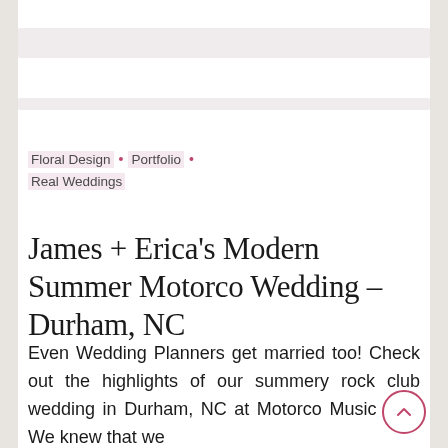[header bar placeholder]
Floral Design • Portfolio • Real Weddings
James + Erica's Modern Summer Motorco Wedding – Durham, NC
Even Wedding Planners get married too! Check out the highlights of our summery rock club wedding in Durham, NC at Motorco Music Hall! We knew that we